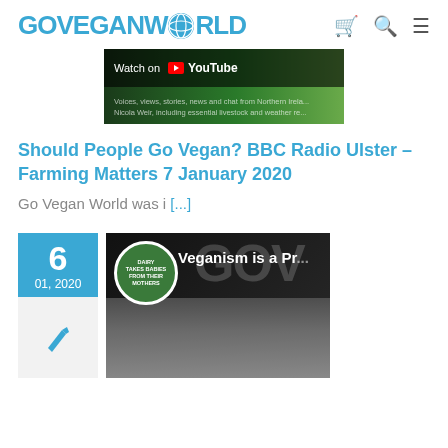GOVEGANWORLD (logo with navigation icons)
[Figure (screenshot): YouTube video thumbnail with 'Watch on YouTube' bar overlay and green background with text about Northern Ireland, Nicola Weir, livestock and weather]
Should People Go Vegan? BBC Radio Ulster – Farming Matters 7 January 2020
Go Vegan World was i [...]
[Figure (screenshot): Date block showing '6 / 01, 2020' in teal, with pen icon below, alongside a video thumbnail showing 'Veganism is a Pro...' with a circular logo saying 'DAIRY TAKES BABIES FROM THEIR MOTHERS' and black-and-white image of hands]